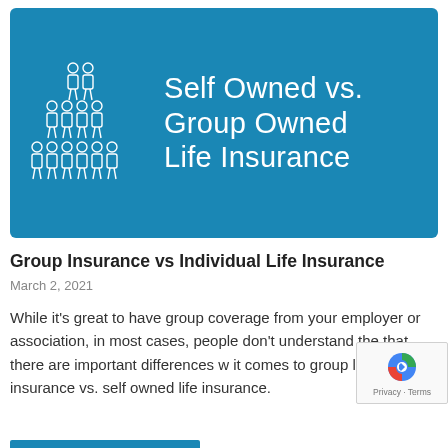[Figure (illustration): Blue banner with white people pyramid icon on left and white text reading 'Self Owned vs. Group Owned Life Insurance' on right]
Group Insurance vs Individual Life Insurance
March 2, 2021
While it's great to have group coverage from your employer or association, in most cases, people don't understand the that there are important differences w it comes to group life insurance vs. self owned life insurance.